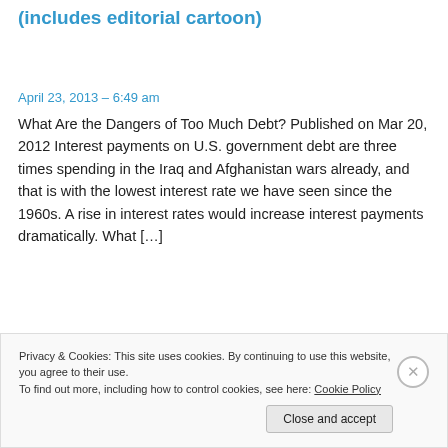(includes editorial cartoon)
April 23, 2013 – 6:49 am
What Are the Dangers of Too Much Debt? Published on Mar 20, 2012 Interest payments on U.S. government debt are three times spending in the Iraq and Afghanistan wars already, and that is with the lowest interest rate we have seen since the 1960s. A rise in interest rates would increase interest payments dramatically. What […]
Privacy & Cookies: This site uses cookies. By continuing to use this website, you agree to their use.
To find out more, including how to control cookies, see here: Cookie Policy